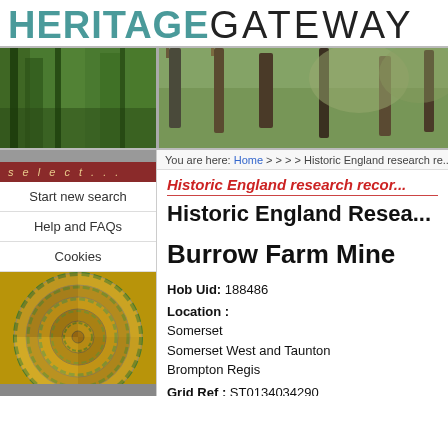HERITAGEGATEWAY
[Figure (photo): Banner photo split: left side shows green foliage/forest background, right side shows iron fence posts or heritage feature in garden setting]
[Figure (photo): Sidebar aerial spiral staircase image, yellow/brown spiral staircase viewed from above with green railing]
select...
Start new search
Help and FAQs
Cookies
You are here: Home > > > > Historic England research re...
Historic England research recor...
Historic England Resea...
Burrow Farm Mine
Hob Uid: 188486
Location :
Somerset
Somerset West and Taunton
Brompton Regis
Grid Ref : ST0134034290
Summary : Openworking for ironstone visible...